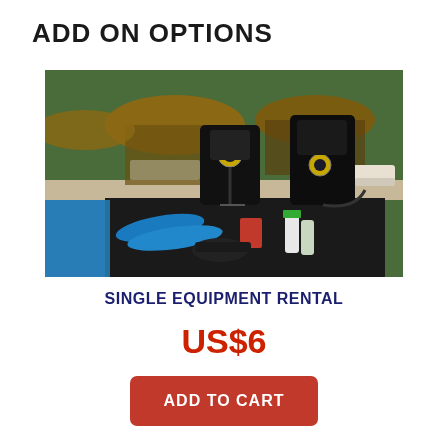ADD ON OPTIONS
[Figure (photo): Scuba diving equipment laid out beside a pool — BCD vests with regulators on a rack, blue fins, snorkels, and spray bottles on a dark mat, with thatched-roof palapas and lounge chairs in the background.]
SINGLE EQUIPMENT RENTAL
US$6
ADD TO CART